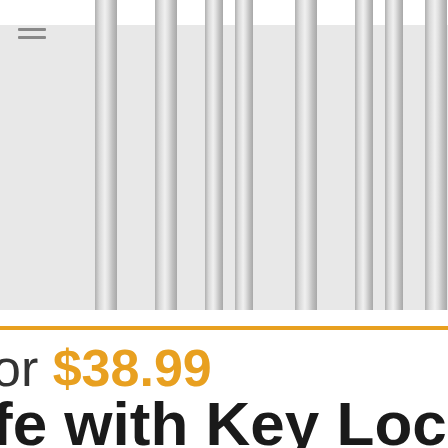[Figure (photo): Close-up photo of metal bars or rods arranged vertically, resembling a safe or cage structure with a silver/chrome metallic finish. An orange horizontal divider line runs across the bottom of the image.]
or $38.99
fe with Key Lock,